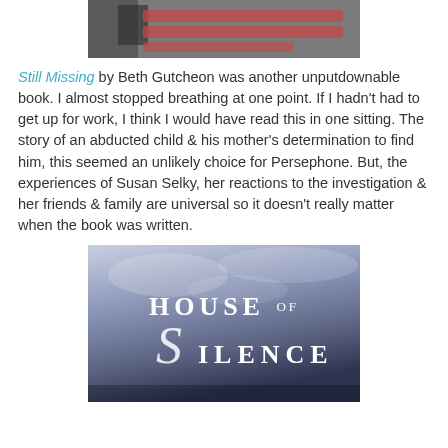[Figure (photo): Partial top image, appears to be a sign or banner with text, cropped at top of page]
Still Missing by Beth Gutcheon was another unputdownable book. I almost stopped breathing at one point. If I hadn't had to get up for work, I think I would have read this in one sitting. The story of an abducted child & his mother's determination to find him, this seemed an unlikely choice for Persephone. But, the experiences of Susan Selky, her reactions to the investigation & her friends & family are universal so it doesn't really matter when the book was written.
[Figure (photo): Book cover image for 'House of Silence' showing stylized white text on a cloudy sky background]